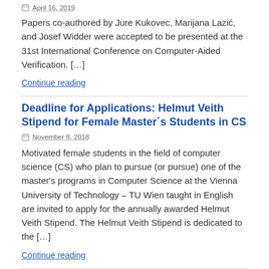April 16, 2019
Papers co-authored by Jure Kukovec, Marijana Lazić, and Josef Widder were accepted to be presented at the 31st International Conference on Computer-Aided Verification. […]
Continue reading
Deadline for Applications: Helmut Veith Stipend for Female Master´s Students in CS
November 8, 2018
Motivated female students in the field of computer science (CS) who plan to pursue (or pursue) one of the master's programs in Computer Science at the Vienna University of Technology – TU Wien taught in English are invited to apply for the annually awarded Helmut Veith Stipend. The Helmut Veith Stipend is dedicated to the […]
Continue reading
FORSYTE's 2018 paper awards